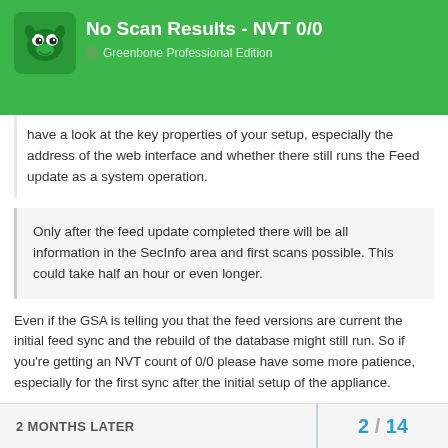No Scan Results - NVT 0/0 | Greenbone Professional Edition
have a look at the key properties of your setup, especially the address of the web interface and whether there still runs the Feed update as a system operation.
Only after the feed update completed there will be all information in the SecInfo area and first scans possible. This could take half an hour or even longer.
Even if the GSA is telling you that the feed versions are current the initial feed sync and the rebuild of the database might still run. So if you're getting an NVT count of 0/0 please have some more patience, especially for the first sync after the initial setup of the appliance.
2 MONTHS LATER | 2 / 14